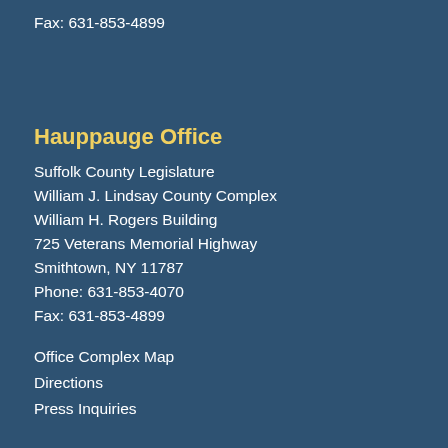Fax: 631-853-4899
Hauppauge Office
Suffolk County Legislature
William J. Lindsay County Complex
William H. Rogers Building
725 Veterans Memorial Highway
Smithtown, NY 11787
Phone: 631-853-4070
Fax: 631-853-4899
Office Complex Map
Directions
Press Inquiries
Riverhead Office
Suffolk County Legislature